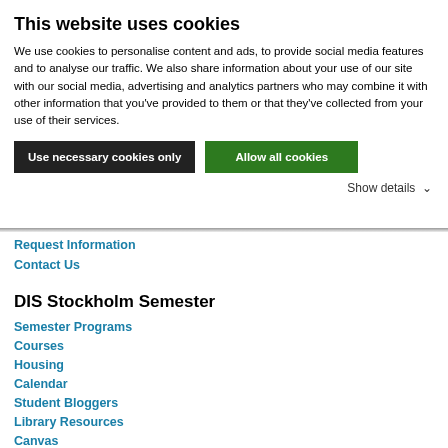This website uses cookies
We use cookies to personalise content and ads, to provide social media features and to analyse our traffic. We also share information about your use of our site with our social media, advertising and analytics partners who may combine it with other information that you've provided to them or that they've collected from your use of their services.
Use necessary cookies only | Allow all cookies
Show details ∨
Request Information
Contact Us
DIS Stockholm Semester
Semester Programs
Courses
Housing
Calendar
Student Bloggers
Library Resources
Canvas